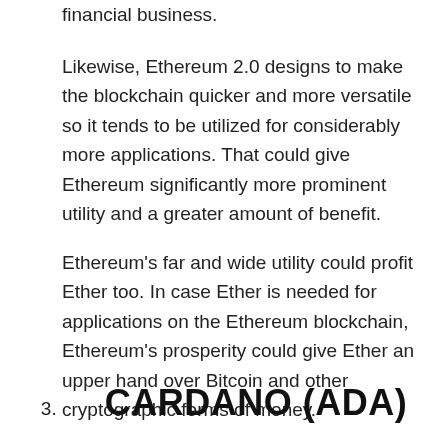financial business.
Likewise, Ethereum 2.0 designs to make the blockchain quicker and more versatile so it tends to be utilized for considerably more applications. That could give Ethereum significantly more prominent utility and a greater amount of benefit.
Ethereum's far and wide utility could profit Ether too. In case Ether is needed for applications on the Ethereum blockchain, Ethereum's prosperity could give Ether an upper hand over Bitcoin and other cryptographic forms of money.
3.  CARDANO (ADA)